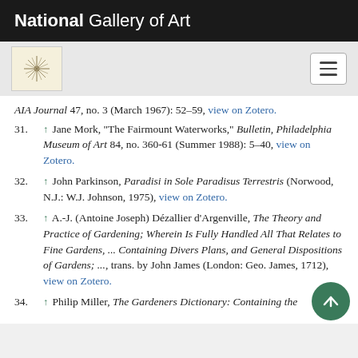National Gallery of Art
AIA Journal 47, no. 3 (March 1967): 52–59, view on Zotero.
31. ↑ Jane Mork, "The Fairmount Waterworks," Bulletin, Philadelphia Museum of Art 84, no. 360-61 (Summer 1988): 5–40, view on Zotero.
32. ↑ John Parkinson, Paradisi in Sole Paradisus Terrestris (Norwood, N.J.: W.J. Johnson, 1975), view on Zotero.
33. ↑ A.-J. (Antoine Joseph) Dézallier d'Argenville, The Theory and Practice of Gardening; Wherein Is Fully Handled All That Relates to Fine Gardens, ... Containing Divers Plans, and General Dispositions of Gardens; ..., trans. by John James (London: Geo. James, 1712), view on Zotero.
34. ↑ Philip Miller, The Gardeners Dictionary: Containing the